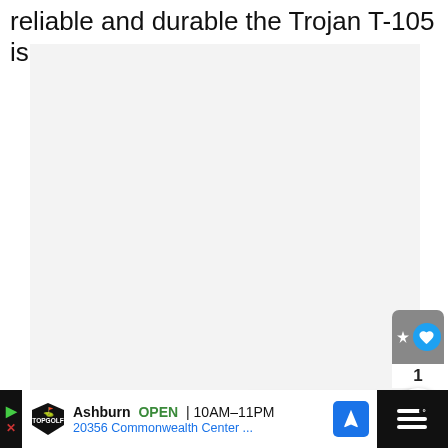reliable and durable the Trojan T-105 is.
[Figure (photo): Large light gray placeholder image area representing an embedded video or photo content, with a like button (heart icon, count of 1), a share button, and a 'What's Next' card showing 'The 12 Best RV Washer...']
[Figure (screenshot): Advertisement bar at the bottom: Topgolf logo, Ashburn OPEN 10AM-11PM, 20356 Commonwealth Center..., navigation arrow icon, and a dark right panel with what appears to be a menu icon]